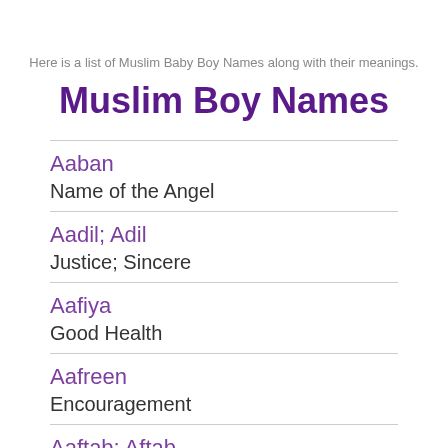Here is a list of Muslim Baby Boy Names along with their meanings.
Muslim Boy Names
Aaban
Name of the Angel
Aadil; Adil
Justice; Sincere
Aafiya
Good Health
Aafreen
Encouragement
Aaftab; Aftab
The sun